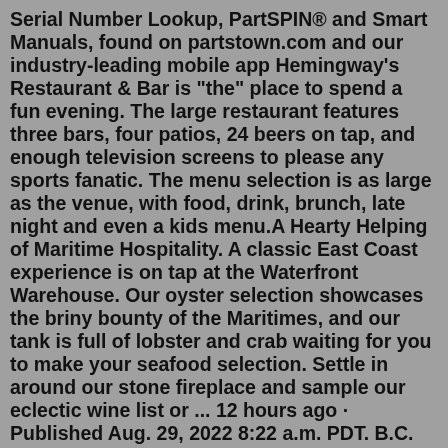Serial Number Lookup, PartSPIN® and Smart Manuals, found on partstown.com and our industry-leading mobile app Hemingway's Restaurant & Bar is "the" place to spend a fun evening. The large restaurant features three bars, four patios, 24 beers on tap, and enough television screens to please any sports fanatic. The menu selection is as large as the venue, with food, drink, brunch, late night and even a kids menu.A Hearty Helping of Maritime Hospitality. A classic East Coast experience is on tap at the Waterfront Warehouse. Our oyster selection showcases the briny bounty of the Maritimes, and our tank is full of lobster and crab waiting for you to make your seafood selection. Settle in around our stone fireplace and sample our eclectic wine list or ... 12 hours ago · Published Aug. 29, 2022 8:22 a.m. PDT. B.C. liquor stores and restaurants are struggling with the impacts of a major union's ongoing job action, leading to bare shelves and possible menu changes ... Bar Products has been supplying the bar and restaurant industry since 1995 with the latest...